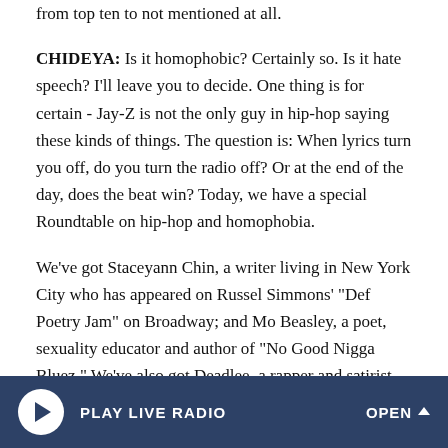from top ten to not mentioned at all.
CHIDEYA: Is it homophobic? Certainly so. Is it hate speech? I'll leave you to decide. One thing is for certain - Jay-Z is not the only guy in hip-hop saying these kinds of things. The question is: When lyrics turn you off, do you turn the radio off? Or at the end of the day, does the beat win? Today, we have a special Roundtable on hip-hop and homophobia.
We've got Staceyann Chin, a writer living in New York City who has appeared on Russel Simmons' "Def Poetry Jam" on Broadway; and Mo Beasley, a poet, sexuality educator and author of "No Good Nigga Bluez." We've also got Deadlee, a rapper and satirist living in Los Angeles. Thanks everybody.
PLAY LIVE RADIO   OPEN